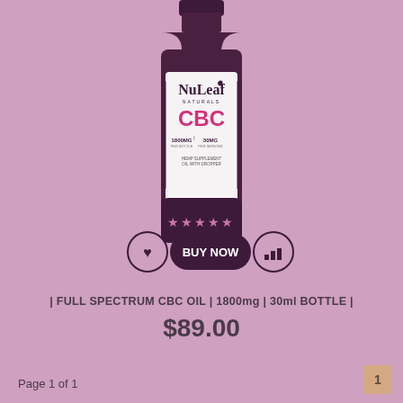[Figure (photo): NuLeaf Naturals CBC oil bottle product image. Dark purple/maroon bottle with white label showing NuLeaf Naturals CBC, 1800mg per bottle, 30mg per serving, hemp supplement oil with dropper. Five stars rating shown on bottle label area. Below the bottle are three UI buttons: a heart/wishlist button on the left, a dark 'BUY NOW' pill button in the center, and a chart/compare button on the right.]
| FULL SPECTRUM CBC OIL | 1800mg | 30ml BOTTLE |
$89.00
Page 1 of 1
1